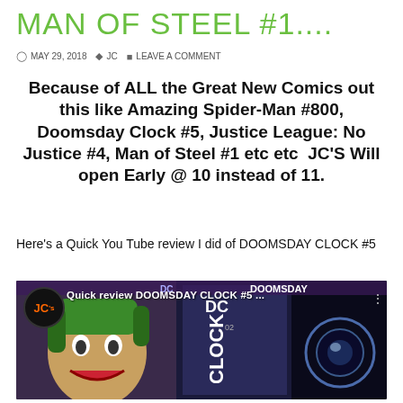MAN OF STEEL #1....
MAY 29, 2018  JC  LEAVE A COMMENT
Because of ALL the Great New Comics out this like Amazing Spider-Man #800, Doomsday Clock #5, Justice League: No Justice #4, Man of Steel #1 etc etc  JC'S Will open Early @ 10 instead of 11.
Here's a Quick You Tube review I did of DOOMSDAY CLOCK #5
[Figure (screenshot): YouTube video thumbnail showing comic book covers including Doomsday Clock #5 with a Joker cover. The thumbnail has a JC's circular logo badge in the top left and overlay text reading 'Quick review DOOMSDAY CLOCK #5 ...']